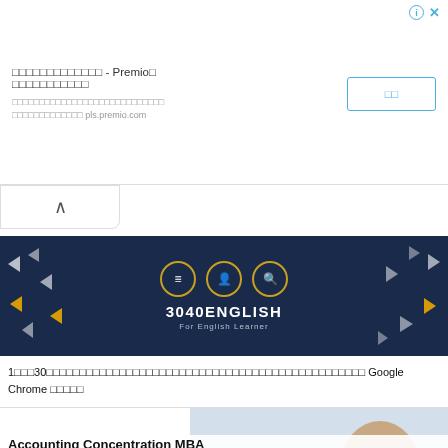[Figure (screenshot): Advertisement banner for Premio with Japanese text, a button, and close/info icons]
[Figure (screenshot): Collapse chevron button (up arrow)]
[Figure (screenshot): 3040ENGLISH banner advertisement with dark navy background, three circle icons, triangular decorations, title '3040ENGLISH' and subtitle 'For English Learner']
1□□□30□□□□□□□□□□□□□□□□□□□□□□□□□□□□□□□□□□□□□□□□□□□□□□□□ Google Chrome □□□ □□
[Figure (screenshot): Advertisement for Keystone College showing logo on left and smiling man in suit on right, with 'Accounting Concentration MBA' caption]